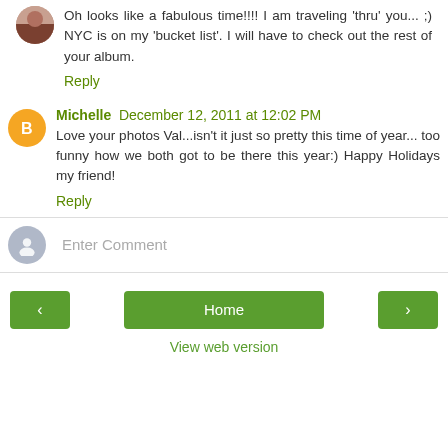Oh looks like a fabulous time!!!! I am traveling 'thru' you... ;) NYC is on my 'bucket list'. I will have to check out the rest of your album.
Reply
Michelle December 12, 2011 at 12:02 PM
Love your photos Val...isn't it just so pretty this time of year... too funny how we both got to be there this year:) Happy Holidays my friend!
Reply
Enter Comment
Home
View web version